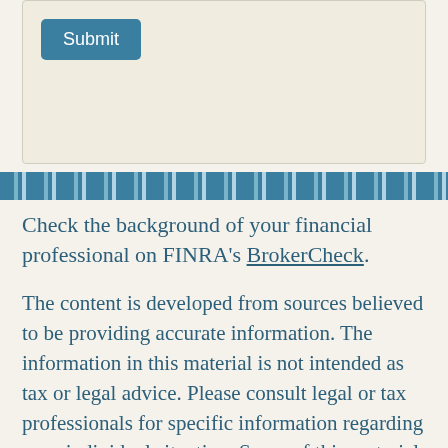Submit
Check the background of your financial professional on FINRA's BrokerCheck.
The content is developed from sources believed to be providing accurate information. The information in this material is not intended as tax or legal advice. Please consult legal or tax professionals for specific information regarding your individual situation. Some of this material was developed and produced by FMG Suite to provide information on a topic that may be of interest. FMG Suite is not affiliated with the named representative, broker - dealer, state - or SEC - registered investment advisory firm. The opinions expressed and material provided are for general information, and should not be considered a solicitation for the purchase or sale of any security.